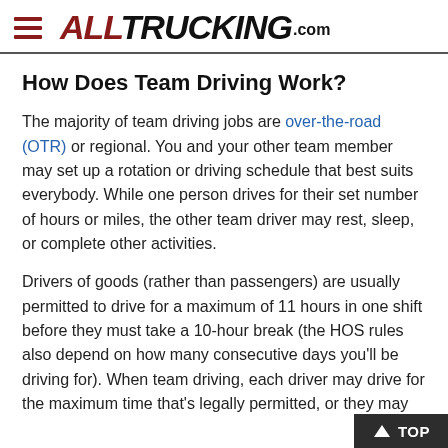ALLTRUCKING.com
How Does Team Driving Work?
The majority of team driving jobs are over-the-road (OTR) or regional. You and your other team member may set up a rotation or driving schedule that best suits everybody. While one person drives for their set number of hours or miles, the other team driver may rest, sleep, or complete other activities.
Drivers of goods (rather than passengers) are usually permitted to drive for a maximum of 11 hours in one shift before they must take a 10-hour break (the HOS rules also depend on how many consecutive days you'll be driving for). When team driving, each driver may drive for the maximum time that's legally permitted, or they may